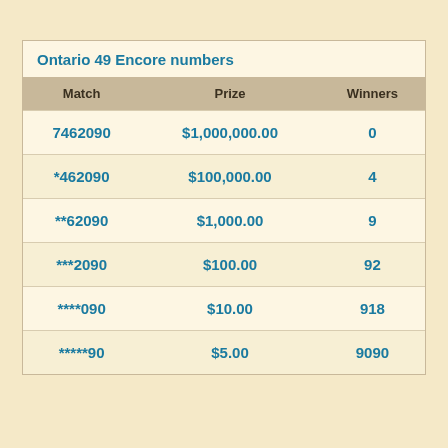| Match | Prize | Winners |
| --- | --- | --- |
| 7462090 | $1,000,000.00 | 0 |
| *462090 | $100,000.00 | 4 |
| **62090 | $1,000.00 | 9 |
| ***2090 | $100.00 | 92 |
| ****090 | $10.00 | 918 |
| *****90 | $5.00 | 9090 |